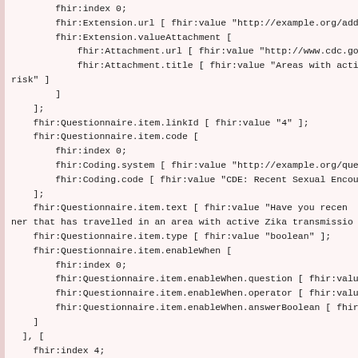FHIR Turtle/RDF code block showing fhir:index, fhir:Extension, fhir:Attachment, fhir:Questionnaire items including linkId, code, text, type, enableWhen fields